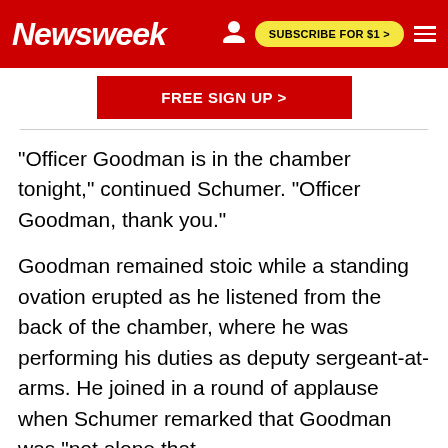Newsweek | SUBSCRIBE FOR $1 >
[Figure (other): FREE SIGN UP > red button banner]
"Officer Goodman is in the chamber tonight," continued Schumer. "Officer Goodman, thank you."
Goodman remained stoic while a standing ovation erupted as he listened from the back of the chamber, where he was performing his duties as deputy sergeant-at-arms. He joined in a round of applause when Schumer remarked that Goodman was "not alone that